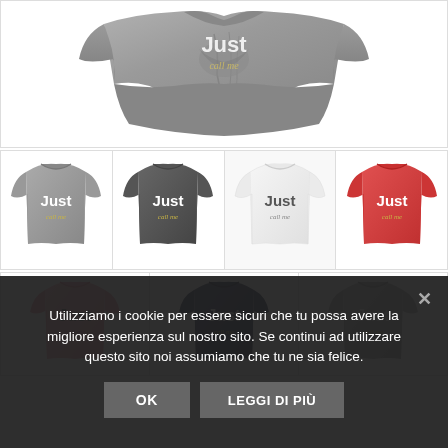[Figure (photo): Close-up of a grey heathered t-shirt folded/laid flat showing torso area with text 'Just call me' printed on it]
[Figure (photo): Grid of 4 t-shirts in different colors (heather grey, dark grey, white, red/coral) all with 'Just call me' text]
[Figure (photo): Grid of 3 t-shirts (pink, navy, light grey) all with 'Just call me' text]
Utilizziamo i cookie per essere sicuri che tu possa avere la migliore esperienza sul nostro sito. Se continui ad utilizzare questo sito noi assumiamo che tu ne sia felice.
OK
LEGGI DI PIÙ